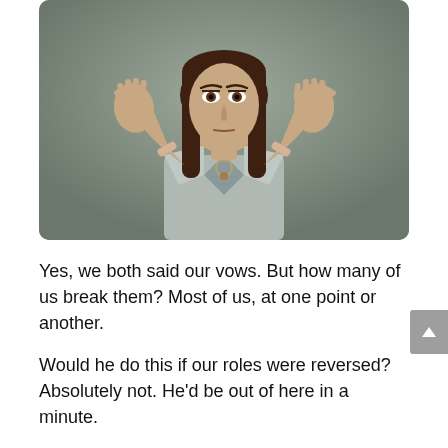[Figure (photo): A young woman with long brown hair wearing a light blue blouse, holding both hands up with palms facing outward in a 'stop' gesture, against a gray background.]
Yes, we both said our vows. But how many of us break them? Most of us, at one point or another.

Would he do this if our roles were reversed? Absolutely not. He'd be out of here in a minute.

He was cheating on me when his spine was crushed in a car accident. I have no idea where he was going that afternoon. He was supposed to be at work. It could have been a work meeting, a lunch time...